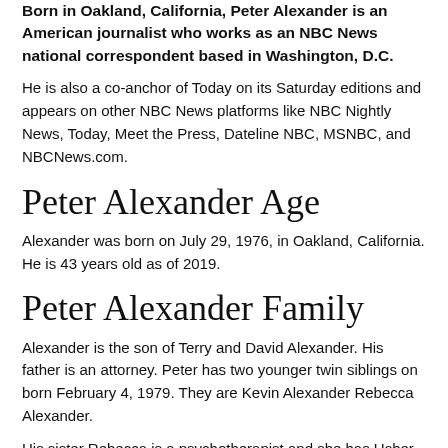Born in Oakland, California, Peter Alexander is an American journalist who works as an NBC News national correspondent based in Washington, D.C.
He is also a co-anchor of Today on its Saturday editions and appears on other NBC News platforms like NBC Nightly News, Today, Meet the Press, Dateline NBC, MSNBC, and NBCNews.com.
Peter Alexander Age
Alexander was born on July 29, 1976, in Oakland, California. He is 43 years old as of 2019.
Peter Alexander Family
Alexander is the son of Terry and David Alexander. His father is an attorney. Peter has two younger twin siblings on born February 4, 1979. They are Kevin Alexander Rebecca Alexander.
His sister Rebecca is a psychotherapist and she has Usher syndrome type II. He also has a half-sister named Lauren,